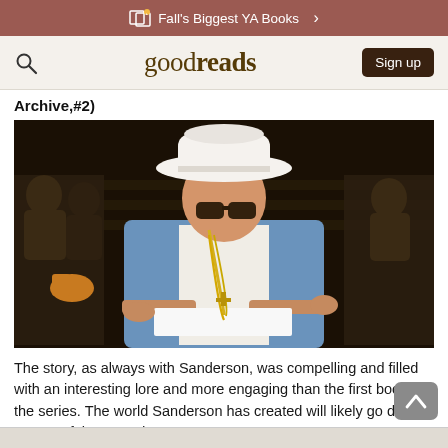Fall's Biggest YA Books >
goodreads  Sign up
Archive,#2)
[Figure (photo): A man wearing a white fedora hat, sunglasses, a light blue suit jacket, white shirt, and multiple gold chains including a cross necklace, sitting in an audience/crowd setting. He is holding a white piece of paper. The background shows other people in the audience, somewhat blurred.]
The story, as always with Sanderson, was compelling and filled with an interesting lore and more engaging than the first book in the series. The world Sanderson has created will likely go down as one of the most d ...more
Like · 👍251